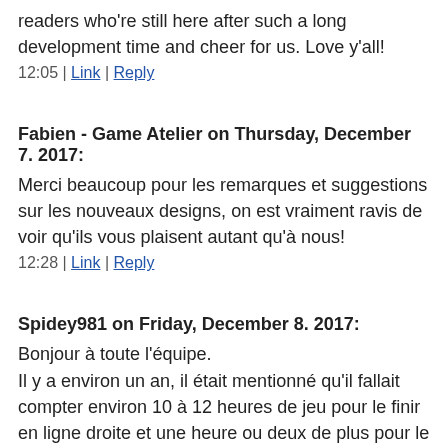readers who're still here after such a long development time and cheer for us. Love y'all!
12:05 | Link | Reply
Fabien - Game Atelier on Thursday, December 7. 2017:
Merci beaucoup pour les remarques et suggestions sur les nouveaux designs, on est vraiment ravis de voir qu'ils vous plaisent autant qu'à nous!
12:28 | Link | Reply
Spidey981 on Friday, December 8. 2017:
Bonjour à toute l'équipe.
Il y a environ un an, il était mentionné qu'il fallait compter environ 10 à 12 heures de jeu pour le finir en ligne droite et une heure ou deux de plus pour le 100%. Aujourd'hui sur le site de FDG il est indiqué plus de 15 heures d'aventure épique. Est-ce en ligne droite ou en faisant le 100% ? Autre question, maintenant que la saison de sortie